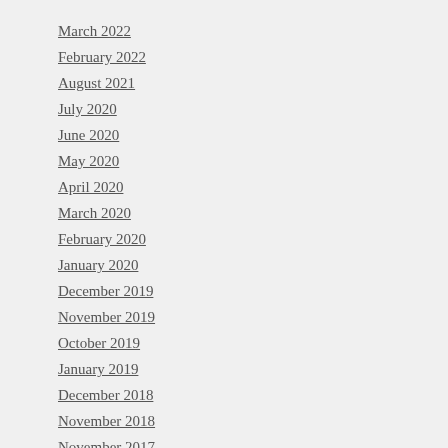March 2022
February 2022
August 2021
July 2020
June 2020
May 2020
April 2020
March 2020
February 2020
January 2020
December 2019
November 2019
October 2019
January 2019
December 2018
November 2018
November 2017